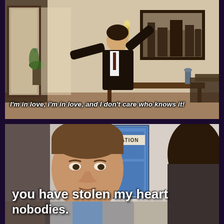[Figure (screenshot): Sepia-toned TV screenshot of a man in a dark suit with arms outstretched in an enthusiastic pose, inside an elegant room with a mirror, framed art, and an open door. Subtitle reads: I'm in love, i'm in love, and I don't care who knows it!]
[Figure (screenshot): Color TV screenshot from show 'Nobodies' showing an older man in a grey blazer talking to someone (back of head visible), with a blue door labeled 'ANIMATION' in background. Subtitle reads: you have stolen my heart / nobodies.]